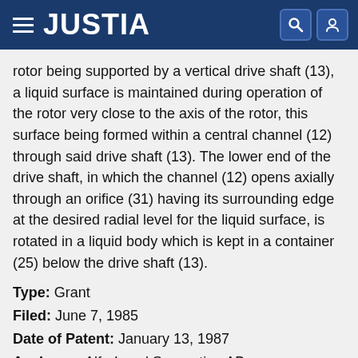JUSTIA
rotor being supported by a vertical drive shaft (13), a liquid surface is maintained during operation of the rotor very close to the axis of the rotor, this surface being formed within a central channel (12) through said drive shaft (13). The lower end of the drive shaft, in which the channel (12) opens axially through an orifice (31) having its surrounding edge at the desired radial level for the liquid surface, is rotated in a liquid body which is kept in a container (25) below the drive shaft (13).
Type: Grant
Filed: June 7, 1985
Date of Patent: January 13, 1987
Assignee: Alfa-Laval Separation AB
Inventor: Klaus Stroucken